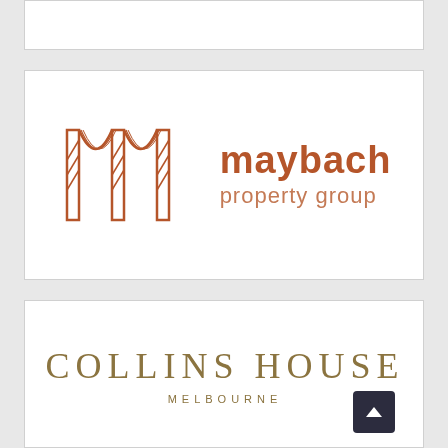[Figure (logo): Maybach Property Group logo — a rust/terracotta colored geometric M mark with parallel vertical lines, beside text 'maybach property group' in lowercase rust-colored sans-serif font]
[Figure (logo): Collins House Melbourne logo — 'COLLINS HOUSE' in large spaced serif capitals in gold/olive color, with 'MELBOURNE' in smaller spaced capitals below, all in gold/olive color]